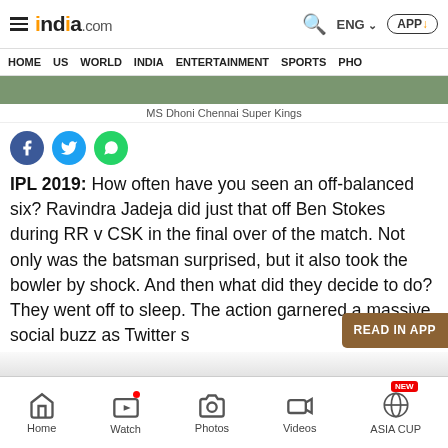india.com — ENG — APP
HOME  US  WORLD  INDIA  ENTERTAINMENT  SPORTS  PHO
[Figure (photo): MS Dhoni Chennai Super Kings image (green background)]
MS Dhoni Chennai Super Kings
[Figure (infographic): Social share icons: Facebook, Twitter, WhatsApp]
IPL 2019: How often have you seen an off-balanced six? Ravindra Jadeja did just that off Ben Stokes during RR v CSK in the final over of the match. Not only was the batsman surprised, but it also took the bowler by shock. And then what did they decide to do? They went off to sleep. The action garnered a massive social buzz as Twitter s
Home  Watch  Photos  Videos  ASIA CUP